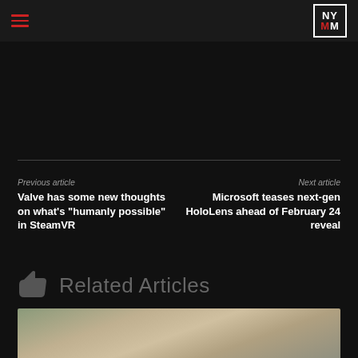NYMM
Previous article
Valve has some new thoughts on what's "humanly possible" in SteamVR
Next article
Microsoft teases next-gen HoloLens ahead of February 24 reveal
Related Articles
[Figure (photo): Bottom image strip showing a person, partial view]